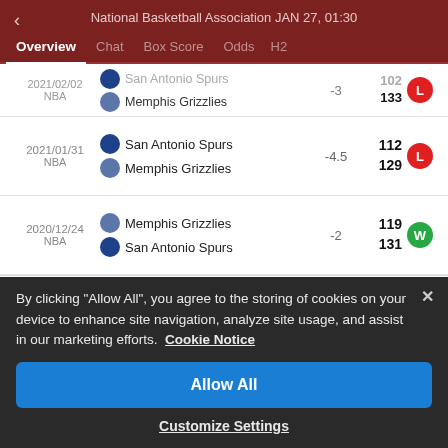National Basketball Association JAN 27, 01:30
Overview  Chat  Box Score  Odds  H2
| Date | Teams | Spread | Score | Result |
| --- | --- | --- | --- | --- |
| 2021/02/02 NBA | San Antonio Spurs / Memphis Grizzlies | -3 | 102 / 133 | L |
| 2021/01/31 NBA | San Antonio Spurs / Memphis Grizzlies | -4.5 | 112 / 129 | L |
| 2020/12/24 NBA | Memphis Grizzlies / San Antonio Spurs | -2 | 119 / 131 | W |
Odds  More>
By clicking "Allow All", you agree to the storing of cookies on your device to enhance site navigation, analyze site usage, and assist in our marketing efforts.  Cookie Notice
Allow All
Customize Settings